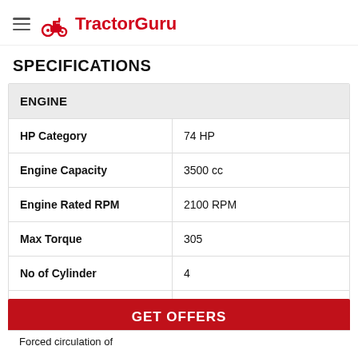TractorGuru
SPECIFICATIONS
| ENGINE |  |
| --- | --- |
| HP Category | 74 HP |
| Engine Capacity | 3500 cc |
| Engine Rated RPM | 2100 RPM |
| Max Torque | 305 |
| No of Cylinder | 4 |
| Air Filter | Dry Type with clog indicator |
GET OFFERS